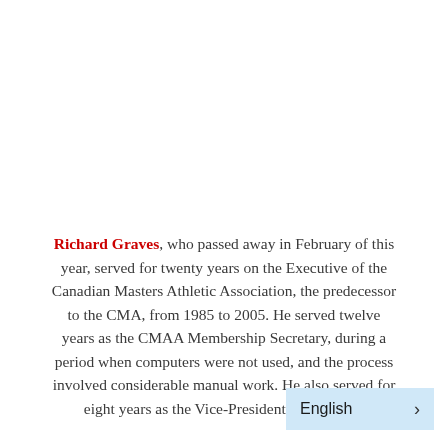Richard Graves, who passed away in February of this year, served for twenty years on the Executive of the Canadian Masters Athletic Association, the predecessor to the CMA, from 1985 to 2005. He served twelve years as the CMAA Membership Secretary, during a period when computers were not used, and the process involved considerable manual work. He also served for eight years as the Vice-President, Non-Stadia... Richard competed in two WMA Cha...